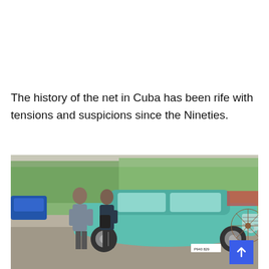The history of the net in Cuba has been rife with tensions and suspicions since the Nineties.
[Figure (photo): Street scene in Cuba showing two people standing beside a vintage teal/turquoise classic American car (1950s Chevrolet style) parked on a city street. Trees and buildings visible in background. A horse-drawn cart wheel is visible on the right side.]